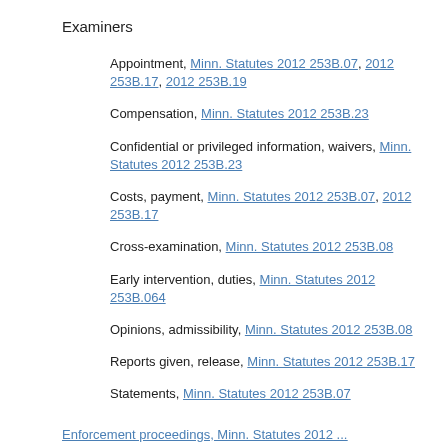Examiners
Appointment, Minn. Statutes 2012 253B.07, 2012 253B.17, 2012 253B.19
Compensation, Minn. Statutes 2012 253B.23
Confidential or privileged information, waivers, Minn. Statutes 2012 253B.23
Costs, payment, Minn. Statutes 2012 253B.07, 2012 253B.17
Cross-examination, Minn. Statutes 2012 253B.08
Early intervention, duties, Minn. Statutes 2012 253B.064
Opinions, admissibility, Minn. Statutes 2012 253B.08
Reports given, release, Minn. Statutes 2012 253B.17
Statements, Minn. Statutes 2012 253B.07
Enforcement proceedings, Minn. Statutes 2012 ...